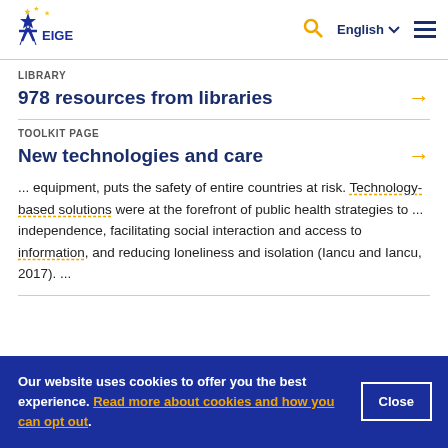EIGE - European Institute for Gender Equality | English | Search | Menu
LIBRARY
978 resources from libraries
TOOLKIT PAGE
New technologies and care
... equipment, puts the safety of entire countries at risk. Technology-based solutions were at the forefront of public health strategies to ... independence, facilitating social interaction and access to information, and reducing loneliness and isolation (Iancu and Iancu, 2017). ...
Our website uses cookies to offer you the best experience. Read more about cookies and how you can opt out.